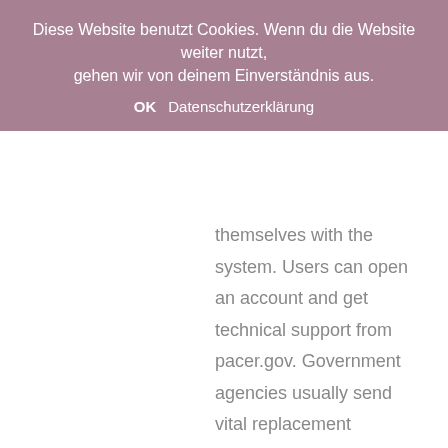Diese Website benutzt Cookies. Wenn du die Website weiter nutzt, gehen wir von deinem Einverständnis aus.
OK   Datenschutzerklärung
themselves with the system. Users can open an account and get technical support from pacer.gov. Government agencies usually send vital replacement documents to your home. Once the adoption is complete, the state seals all records to protect the privacy of everyone involved. To obtain adoption records, adoptees must make arrangements through government agencies. Find out what documents are available and how to obtain them. To